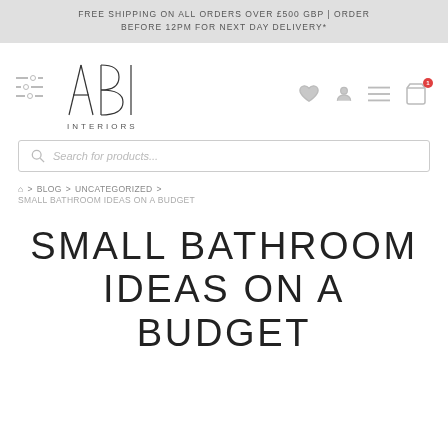FREE SHIPPING ON ALL ORDERS OVER £500 GBP | ORDER BEFORE 12PM FOR NEXT DAY DELIVERY*
[Figure (logo): ABI Interiors logo with filter icon and navigation icons (heart, person, menu, cart)]
Search for products...
Home > BLOG > UNCATEGORIZED > SMALL BATHROOM IDEAS ON A BUDGET
SMALL BATHROOM IDEAS ON A BUDGET